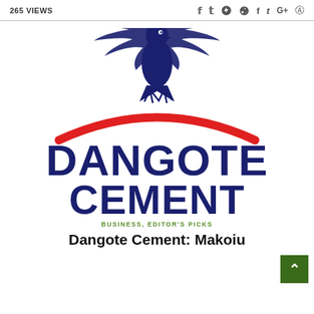265 VIEWS
[Figure (logo): Dangote Cement logo featuring a dark navy blue eagle perched on a red arch above the bold navy text DANGOTE CEMENT]
BUSINESS, EDITOR'S PICKS
Dangote Cement: Makoiu